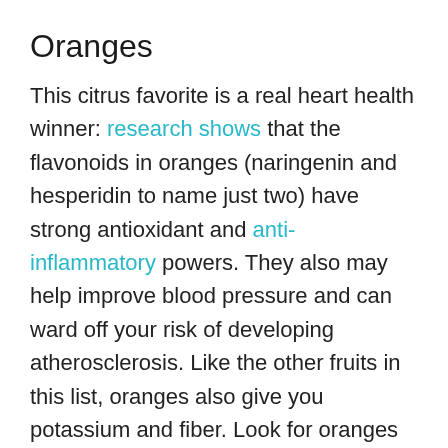Oranges
This citrus favorite is a real heart health winner: research shows that the flavonoids in oranges (naringenin and hesperidin to name just two) have strong antioxidant and anti-inflammatory powers. They also may help improve blood pressure and can ward off your risk of developing atherosclerosis. Like the other fruits in this list, oranges also give you potassium and fiber. Look for oranges with small navels (yes, the indentation on the non-stem end of the orange is called a navel). A large navel means it's overripe.